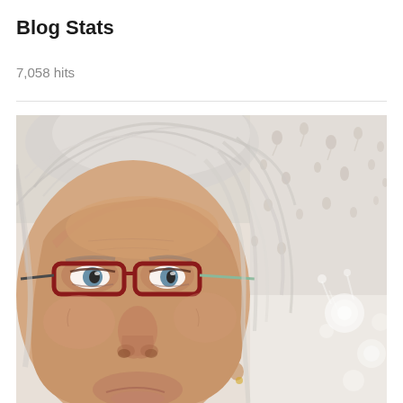Blog Stats
7,058 hits
[Figure (photo): Close-up selfie photo of an elderly woman with white/grey hair wearing dark red-framed glasses, looking slightly upward at the camera. Background shows a decorative curtain with dot/leaf pattern and some bokeh lights on the right side.]